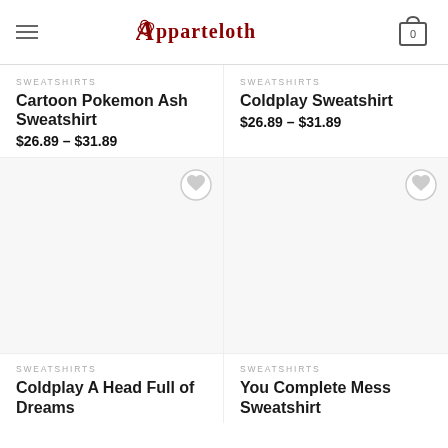Apparteloth
SWEATSHIRTS
Cartoon Pokemon Ash Sweatshirt
$26.89 – $31.89
SWEATSHIRTS
Coldplay Sweatshirt
$26.89 – $31.89
[Figure (other): Product image placeholder with wishlist heart button - left column]
[Figure (other): Product image placeholder with wishlist heart button - right column]
SWEATSHIRTS
Coldplay A Head Full of Dreams
SWEATSHIRTS
You Complete Mess Sweatshirt